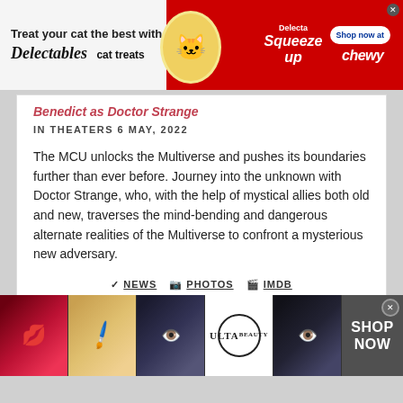[Figure (other): Top banner advertisement: 'Treat your cat the best with Delectables cat treats' on left white side with cat image, red right side with Squeeze Up product, Shop now at Chewy button]
Benedict as Doctor Strange
IN THEATERS 6 MAY, 2022
The MCU unlocks the Multiverse and pushes its boundaries further than ever before. Journey into the unknown with Doctor Strange, who, with the help of mystical allies both old and new, traverses the mind-bending and dangerous alternate realities of the Multiverse to confront a mysterious new adversary.
✓ NEWS  📷 PHOTOS  🎬 IMDB
EVERYBODY IS HORRID EXCEPT ME (AND
[Figure (photo): Bottom banner advertisement for ULTA beauty: filmstrip-style images of lips with lipstick, makeup brush, eye with dramatic shadow, ULTA logo, and eye with dark makeup. SHOP NOW button on right with close X button.]